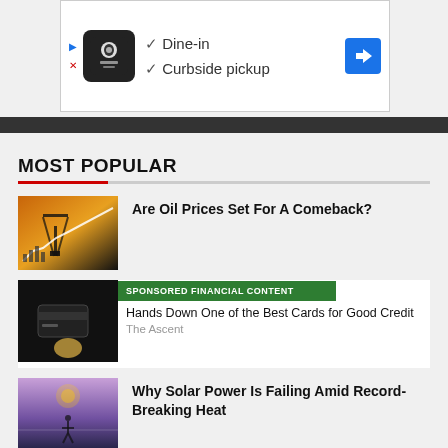[Figure (screenshot): Ad banner: Dine-in / Curbside pickup with restaurant icon and navigation arrow]
MOST POPULAR
Are Oil Prices Set For A Comeback?
SPONSORED FINANCIAL CONTENT
Hands Down One of the Best Cards for Good Credit
The Ascent
Why Solar Power Is Failing Amid Record-Breaking Heat
Aramco Stands Ready To Boost Oil Output To 12 Million Bpd